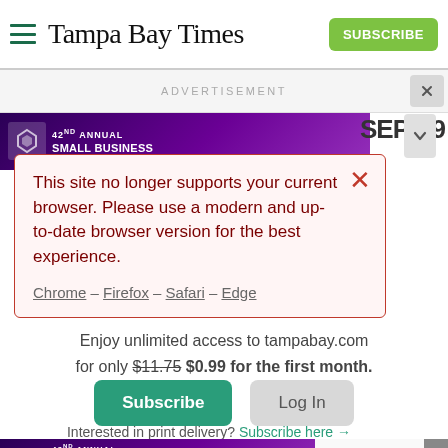Tampa Bay Times
ADVERTISEMENT
[Figure (screenshot): Browser compatibility warning modal popup over Tampa Bay Times website subscription page. Modal reads: 'This site no longer supports your current browser. Please use a modern and up-to-date browser version for the best experience. Chrome – Firefox – Safari – Edge'. Below modal: 'Enjoy unlimited access to tampabay.com for only $11.75 $0.99 for the first month.' Subscribe and Log In buttons. Bottom: 'Interested in print delivery? Subscribe here →'. Bottom ad strip for 42nd Annual Small Business of the Year Awards, Sep. 29.]